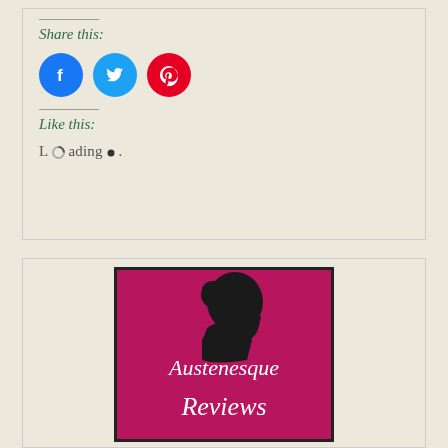Share this:
[Figure (illustration): Three social media circular icon buttons: Facebook (blue), Twitter (light blue), Pinterest (red)]
Like this:
Loading...
[Figure (logo): Austenesque Reviews logo: pink/magenta background with black silhouette of a woman's profile and cursive white text reading 'Austenesque Reviews']